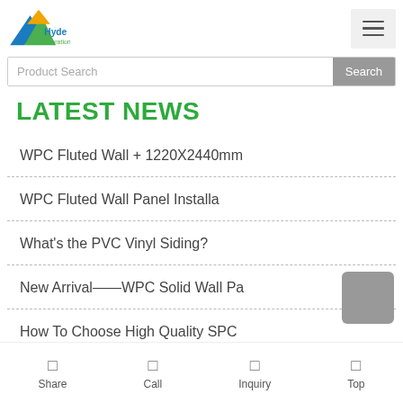[Figure (logo): Hyde Decoration company logo with blue and green arrow/house shapes]
LATEST NEWS
WPC Fluted Wall + 1220X2440mm
WPC Fluted Wall Panel Installa
What's the PVC Vinyl Siding?
New Arrival——WPC Solid Wall Pa
How To Choose High Quality SPC
Share   Call   Inquiry   Top